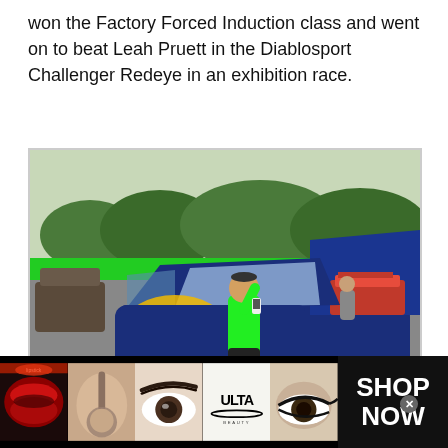won the Factory Forced Induction class and went on to beat Leah Pruett in the Diablosport Challenger Redeye in an exhibition race.
[Figure (photo): A man in a green shirt standing next to a blue Dodge Challenger muscle car with its hood open, on a drag racing track. The car has a '320' decal on the door and decorative graphics. Green wall visible in background.]
[Figure (infographic): Ulta Beauty advertisement banner showing close-up photos of makeup looks (lips, brush, eyes, eye makeup), the Ulta Beauty logo, and a 'SHOP NOW' call to action.]